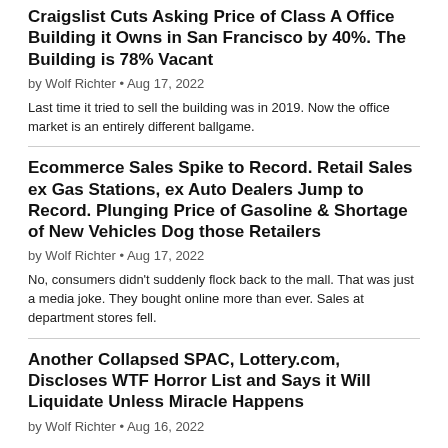Craigslist Cuts Asking Price of Class A Office Building it Owns in San Francisco by 40%. The Building is 78% Vacant
by Wolf Richter • Aug 17, 2022
Last time it tried to sell the building was in 2019. Now the office market is an entirely different ballgame.
Ecommerce Sales Spike to Record. Retail Sales ex Gas Stations, ex Auto Dealers Jump to Record. Plunging Price of Gasoline & Shortage of New Vehicles Dog those Retailers
by Wolf Richter • Aug 17, 2022
No, consumers didn't suddenly flock back to the mall. That was just a media joke. They bought online more than ever. Sales at department stores fell.
Another Collapsed SPAC, Lottery.com, Discloses WTF Horror List and Says it Will Liquidate Unless Miracle Happens
by Wolf Richter • Aug 16, 2022